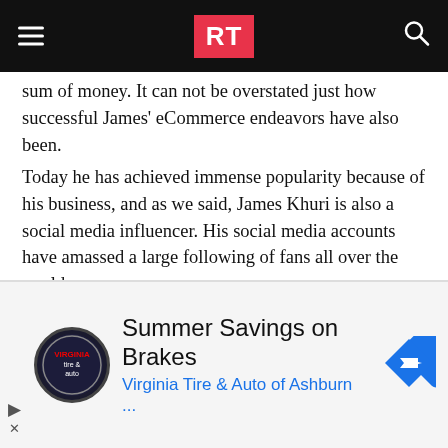RT
sum of money. It can not be overstated just how successful James' eCommerce endeavors have also been.
Today he has achieved immense popularity because of his business, and as we said, James Khuri is also a social media influencer. His social media accounts have amassed a large following of fans all over the world.
Also read: Things You Should Know About Joe Burrow Girlfriend!
RELATED TOPICS:
[Figure (screenshot): Advertisement banner for Virginia Tire & Auto of Ashburn — Summer Savings on Brakes]